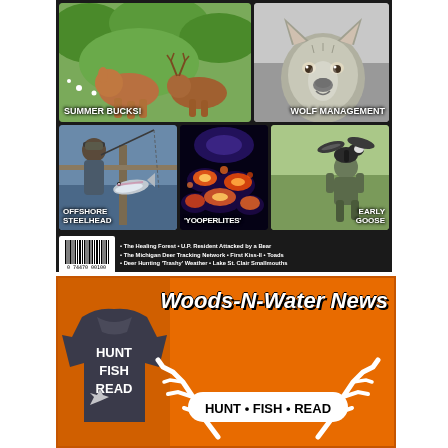[Figure (photo): Magazine back cover showing grid of wildlife/outdoor photos: summer deer bucks in field, wolf close-up, man holding steelhead fish, Yooperlites glowing rocks, hunter with Canada goose. Dark background with white caption labels on each photo. Bottom strip has barcode and bullet-point article teasers with website URLs.]
• The Healing Forest • U.P. Resident Attacked by a Bear • The Michigan Deer Tracking Network • First Kiss-II • Toads • Deer Hunting 'Trashy' Weather • Lake St. Clair Smallmouths
www.woods-n-waternews.com • www.outdoorweekend.net
[Figure (illustration): Orange advertisement banner for Woods-N-Water News magazine. Shows grey t-shirt with 'HUNT FISH READ' text on left, large bold italic 'Woods-N-Water News' title, antler graphics, and 'HUNT • FISH • READ' tagline in white rounded rectangle.]